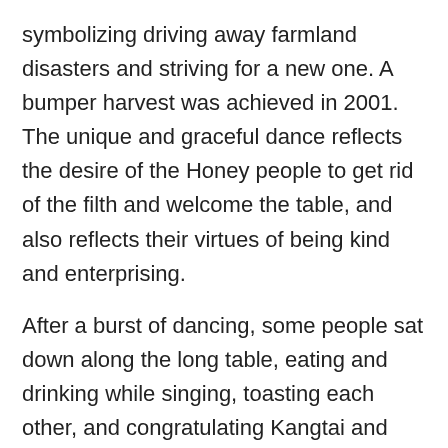symbolizing driving away farmland disasters and striving for a new one. A bumper harvest was achieved in 2001. The unique and graceful dance reflects the desire of the Honey people to get rid of the filth and welcome the table, and also reflects their virtues of being kind and enterprising.
After a burst of dancing, some people sat down along the long table, eating and drinking while singing, toasting each other, and congratulating Kangtai and auspicious each other with singing. Some continue to dance, indulging in the joy of dance. The melodious singing, the simple and colorful Brown fan dance, the happy laughter and joy of drinking make the whole feast full of joy, make people full of happiness and good hope in the new year, make the Honey people more united and harmonious, to overcome all natural disasters, usher in the new year's bumper grain, six livestock